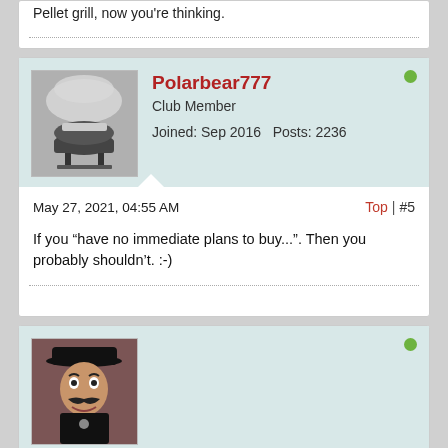Pellet grill, now you're thinking.
Polarbear777
Club Member
Joined: Sep 2016   Posts: 2236
May 27, 2021, 04:55 AM
Top | #5
If you “have no immediate plans to buy...”. Then you probably shouldn’t. :-)
[Figure (photo): Avatar photo of a man wearing a black hat, with a mustache, smiling, in front of a brick wall]